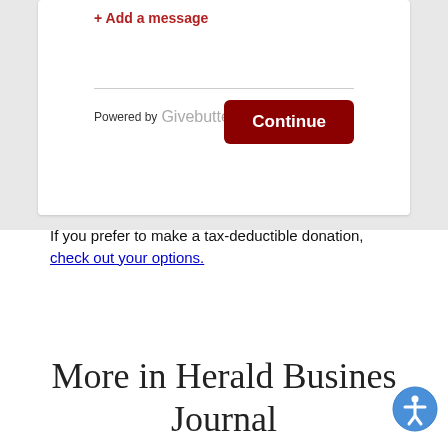+ Add a message
Powered by Givebutter
Continue
If you prefer to make a tax-deductible donation, check out your options.
More in Herald Business Journal